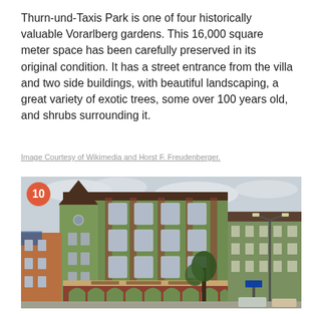Thurn-und-Taxis Park is one of four historically valuable Vorarlberg gardens. This 16,000 square meter space has been carefully preserved in its original condition. It has a street entrance from the villa and two side buildings, with beautiful landscaping, a great variety of exotic trees, some over 100 years old, and shrubs surrounding it.
Image Courtesy of Wikimedia and Horst F. Freudenberger.
[Figure (photo): Photograph of a large green Art Nouveau building with a round tower, red brick window surrounds, arched ground-floor arcade, multiple stories with many windows, a street lamp visible on the right, and a cloudy sky. A red circle badge with the number 10 is overlaid in the top-left corner.]